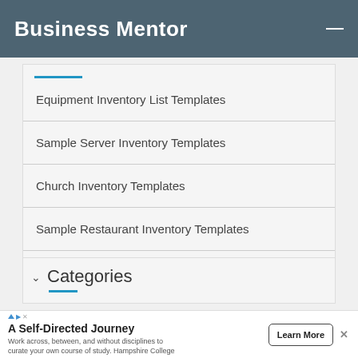Business Mentor
Equipment Inventory List Templates
Sample Server Inventory Templates
Church Inventory Templates
Sample Restaurant Inventory Templates
Sample Inventory Worksheets
Categories
A Self-Directed Journey
Work across, between, and without disciplines to curate your own course of study. Hampshire College
Learn More